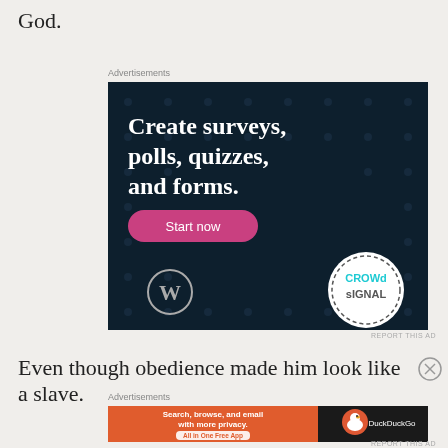God.
Advertisements
[Figure (screenshot): CrowdSignal/WordPress advertisement banner with dark navy background showing text 'Create surveys, polls, quizzes, and forms.' with a pink 'Start now' button, WordPress logo bottom-left, and CrowdSignal circular logo bottom-right]
Even though obedience made him look like a slave.
Advertisements
[Figure (screenshot): DuckDuckGo advertisement banner: orange left panel with text 'Search, browse, and email with more privacy. All in One Free App' and black right panel with DuckDuckGo duck logo and text 'DuckDuckGo']